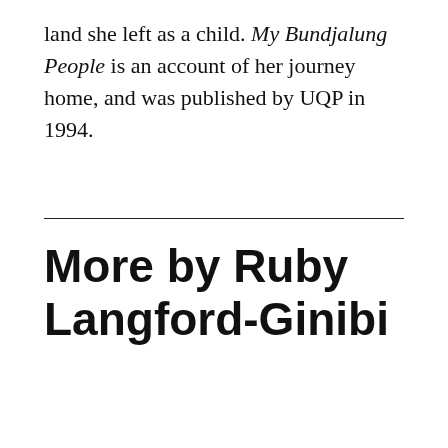land she left as a child. My Bundjalung People is an account of her journey home, and was published by UQP in 1994.
More by Ruby Langford-Ginibi